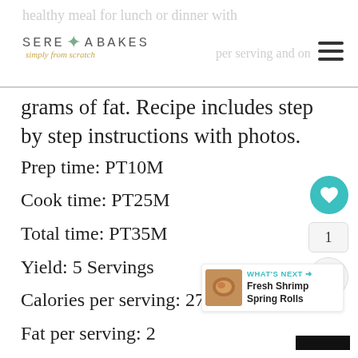healthy meal for lunch or dinner with under 30 calories per serving and only
grams of fat. Recipe includes step by step instructions with photos.
Prep time: PT10M
Cook time: PT25M
Total time: PT35M
Yield: 5 Servings
Calories per serving: 270
Fat per serving: 2
Ingredients
8 cups Water
[Figure (logo): Serena Bakes Simply From Scratch logo with leaf decoration]
WHAT'S NEXT → Fresh Shrimp Spring Rolls